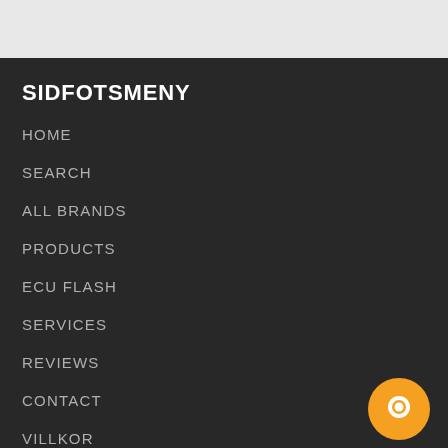SIDFOTSMENY
HOME
SEARCH
ALL BRANDS
PRODUCTS
ECU FLASH
SERVICES
REVIEWS
CONTACT
VILLKOR
ADD TO CART